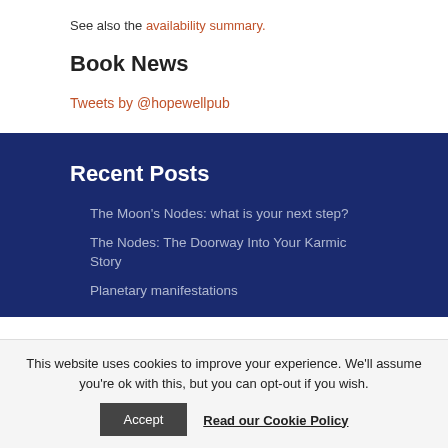See also the availability summary.
Book News
Tweets by @hopewellpub
Recent Posts
The Moon's Nodes: what is your next step?
The Nodes: The Doorway Into Your Karmic Story
Planetary manifestations
This website uses cookies to improve your experience. We'll assume you're ok with this, but you can opt-out if you wish.
Accept
Read our Cookie Policy